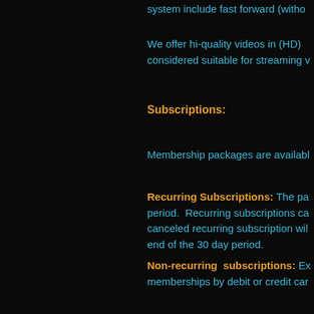system include fast forward (withou
We offer hi-quality videos in (HD) considered suitable for streaming v
Subscriptions:
Membership packages are availabl
Recurring Subscriptions: The pa period.  Recurring subscriptions ca canceled recurring subscription wil end of the 30 day period.
Non-recurring subscriptions: Ex memberships by debit or credit car
PayPal
PayPal is our primary payment pro